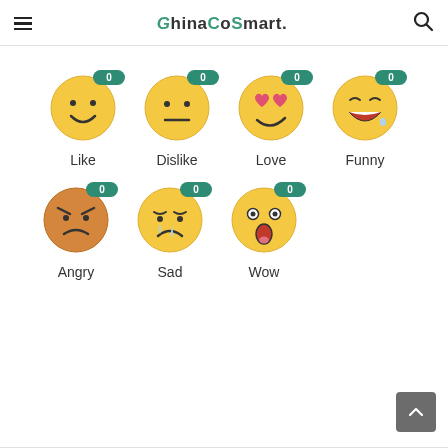ChinaGoSmart.
[Figure (infographic): Seven emoji reaction icons arranged in two rows with count badges (all showing 0) and labels: Like (smiley face), Dislike (neutral face), Love (heart eyes), Funny (laughing with tear), Angry (angry face), Sad (crying face), Wow (surprised face)]